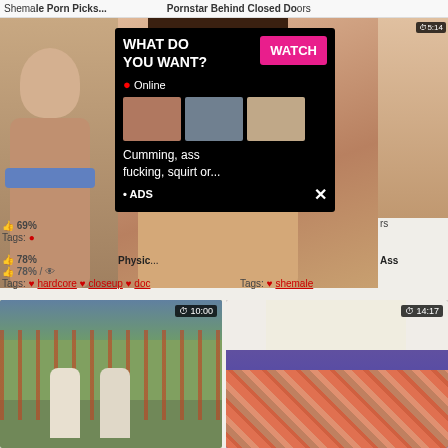Shemale... | Pornstar Behind Closed Doors
[Figure (screenshot): Adult video website screenshot showing thumbnail grid with explicit content]
[Figure (screenshot): Popup ad overlay: black background with 'WHAT DO YOU WANT?' heading, pink WATCH button, Online indicator, three thumbnail images, text 'Cumming, ass fucking, squirt or...' and ADS label with X close button]
👍 69%
Tags:
👍 78%
Physic...
👍 78% / 👁
Tags: hardcore closeup doc
Tags: shemale
[Figure (screenshot): Chat notification ad overlay: white pill-shaped bubble with circular avatar (woman), LIVE green badge, red notification dot, pink gradient bubble showing ADS badge, 'Angel is typing... 💬', '(1) unread message', black X close button]
ADS
Angel is typing ... 💬
(1) unread message
⏱ 10:00
⏱ 14:17
[Figure (photo): Two Asian schoolgirls in uniforms outdoors near fence]
[Figure (photo): Woman in floral skirt bending over]